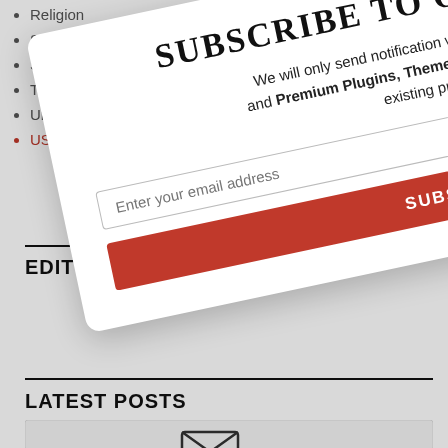Religion
Sports
Sportsflake
Trailblazer
Uncategorized
US-Africa Relations
[Figure (screenshot): Subscribe to our Updates modal dialog, rotated, with title 'Subscribe to Our Updates', body text about free plugins/themes/updates, email input field, and red Subscribe button with X close button]
EDITORS PICKS
LATEST POSTS
[Figure (illustration): Partial view of a card/box with an envelope icon at the bottom of the page]